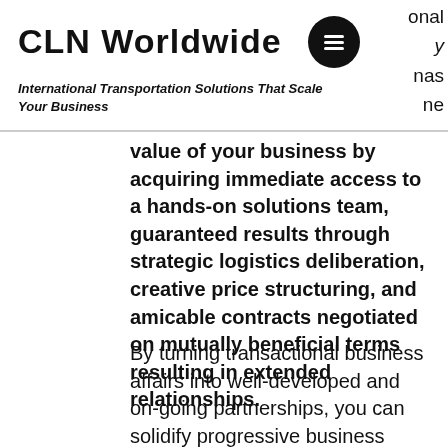CLN Worldwide
International Transportation Solutions That Scale Your Business
value of your business by acquiring immediate access to a hands-on solutions team, guaranteed results through strategic logistics deliberation, creative price structuring, and amicable contracts negotiated on mutually beneficial terms resulting in extended relationships.
By turning transactional business affairs into well-developed and on-going partnerships, you can solidify progressive business development while your co-managing team of